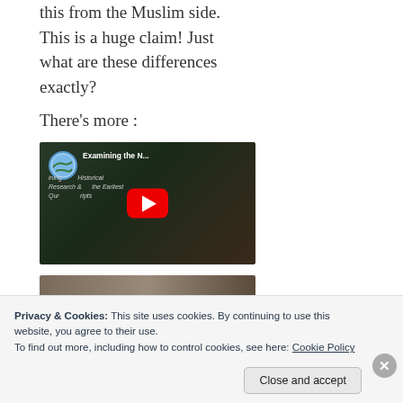this from the Muslim side. This is a huge claim! Just what are these differences exactly?
There's more :
[Figure (screenshot): YouTube video thumbnail showing 'Examining the N...' with subtitle text about historical research and earliest Quranic manuscripts, featuring a globe/Europe channel icon and red YouTube play button]
[Figure (screenshot): Partial second video thumbnail visible at bottom]
Privacy & Cookies: This site uses cookies. By continuing to use this website, you agree to their use.
To find out more, including how to control cookies, see here: Cookie Policy
Close and accept